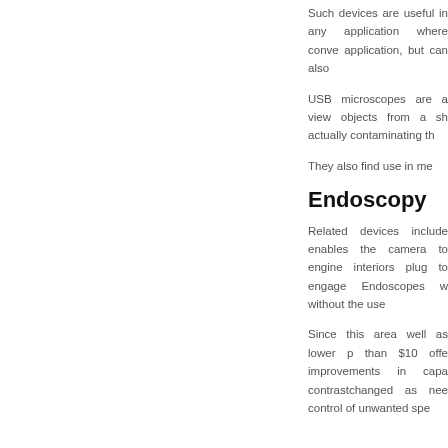Such devices are useful in any application where conventional application, but can also
USB microscopes are a view objects from a sh actually contaminating th
They also find use in me
Endoscopy
Related devices include enables the camera to engine interiors plug to engage Endoscopes w without the use
[Figure (other): Online Service widget with red background and back arrow, chat bubble icon, and Top button]
Since this area well as lower p than $10 offe improvements in capa contrastchanged as nee control of unwanted spe